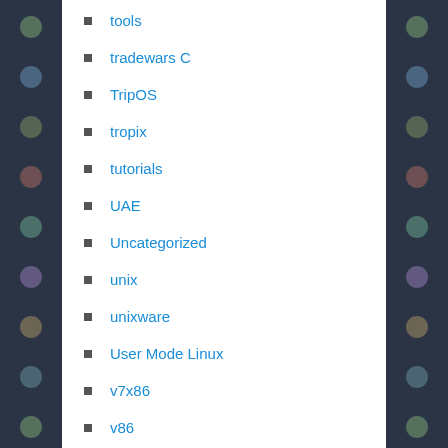tools
tradewars C
TripOS
tropix
tutorials
UAE
Uncategorized
unix
unixware
User Mode Linux
v7x86
v86
VAX
VAX 11/780
venix
videos
virtual networking
Virtual PC
virtual radio
virtual server
virtual server 2005R2 sp1
VirtualBox